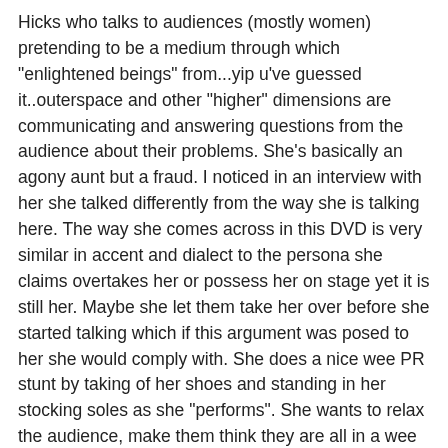Hicks who talks to audiences (mostly women) pretending to be a medium through which "enlightened beings" from...yip u've guessed it..outerspace and other "higher" dimensions are communicating and answering questions from the audience about their problems. She's basically an agony aunt but a fraud. I noticed in an interview with her she talked differently from the way she is talking here. The way she comes across in this DVD is very similar in accent and dialect to the persona she claims overtakes her or possess her on stage yet it is still her. Maybe she let them take her over before she started talking which if this argument was posed to her she would comply with. She does a nice wee PR stunt by taking of her shoes and standing in her stocking soles as she "performs". She wants to relax the audience, make them think they are all in a wee living room with. I think she's a clever PR woman, thats all. DON'T BE FOOLED. There are valid commentators in this video to be sure but also a few non-so-valid. Anybody notice that I'm using alot of inverted commas? Don't worry I'm not smug!